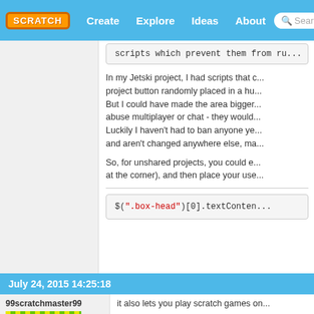SCRATCH | Create | Explore | Ideas | About | Search
scripts which prevent them from ru...
In my Jetski project, I had scripts that ... project button randomly placed in a hu... But I could have made the area bigger... abuse multiplayer or chat - they would... Luckily I haven't had to ban anyone ye... and aren't changed anywhere else, ma...
So, for unshared projects, you could e... at the corner), and then place your use...
$(".box-head")[0].textConten...
July 24, 2015 14:25:18
99scratchmaster99
it also lets you play scratch games on...
[Figure (screenshot): Scratch block: when flag clicked, repeat until project = done]